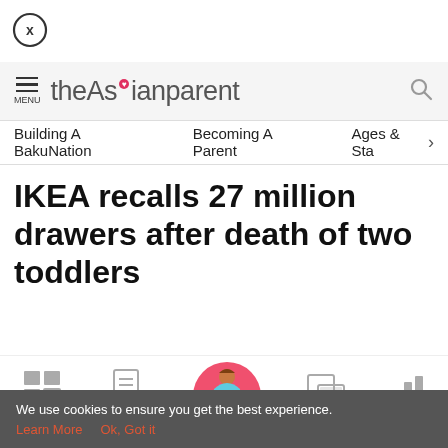[Figure (logo): Close button: circle with X]
theAsianparent — MENU | search icon
Building A BakuNation | Becoming A Parent | Ages & Sta >
IKEA recalls 27 million drawers after death of two toddlers
[Figure (infographic): Bottom navigation bar with icons: Tools, Articles, Home (pregnant woman pink circle), Feed, Poll]
We use cookies to ensure you get the best experience. Learn More  Ok, Got it